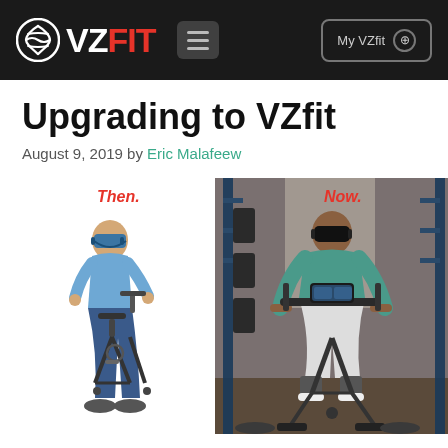VZ FIT — My VZfit
Upgrading to VZfit
August 9, 2019 by Eric Malafeew
[Figure (photo): Two-panel comparison image. Left panel (white background): man wearing VR headset riding a basic stationary exercise bike, labeled 'Then.' in red italic. Right panel (gym background): muscular man wearing VR headset riding a high-end stationary bike in a gym setting with weight rack, labeled 'Now.' in red italic.]